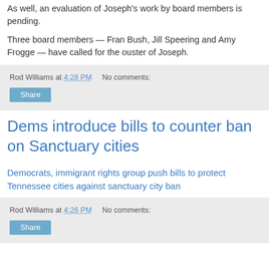As well, an evaluation of Joseph's work by board members is pending.
Three board members — Fran Bush, Jill Speering and Amy Frogge — have called for the ouster of Joseph.
Rod Williams at 4:28 PM   No comments:
Share
Dems introduce bills to counter ban on Sanctuary cities
Democrats, immigrant rights group push bills to protect Tennessee cities against sanctuary city ban
Rod Williams at 4:26 PM   No comments:
Share